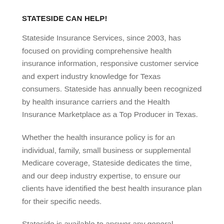STATESIDE CAN HELP!
Stateside Insurance Services, since 2003, has focused on providing comprehensive health insurance information, responsive customer service and expert industry knowledge for Texas consumers. Stateside has annually been recognized by health insurance carriers and the Health Insurance Marketplace as a Top Producer in Texas.
Whether the health insurance policy is for an individual, family, small business or supplemental Medicare coverage, Stateside dedicates the time, and our deep industry expertise, to ensure our clients have identified the best health insurance plan for their specific needs.
Stateside is available to answer any general questions regarding your coverage options, can provide a subsidy determination, and even assist in